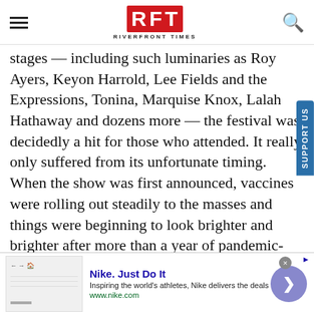RFT RIVERFRONT TIMES
stages — including such luminaries as Roy Ayers, Keyon Harrold, Lee Fields and the Expressions, Tonina, Marquise Knox, Lalah Hathaway and dozens more — the festival was decidedly a hit for those who attended. It really only suffered from its unfortunate timing. When the show was first announced, vaccines were rolling out steadily to the masses and things were beginning to look brighter and brighter after more than a year of pandemic-inspired darkness. But by the time the date of the show rolled around, St. Louis and the country at large were again in the grips
[Figure (screenshot): Nike advertisement banner showing Nike logo area, 'Nike. Just Do It' headline, tagline 'Inspiring the world's athletes, Nike delivers the deals', URL www.nike.com, close button, and navigation arrow button]